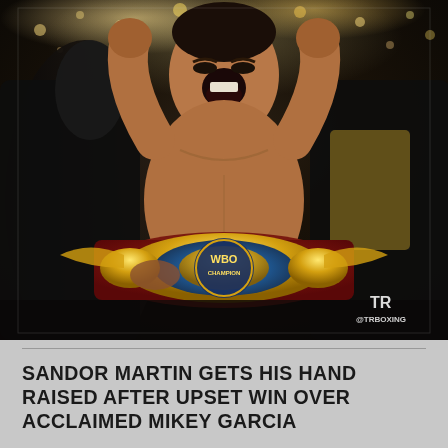[Figure (photo): A boxer celebrating victory, arms raised, mouth open in a shout, wearing a WBO champion belt. He is shirtless, surrounded by cornermen in black jackets. Arena lights visible in the background. TR Boxing watermark in lower right corner.]
SANDOR MARTIN GETS HIS HAND RAISED AFTER UPSET WIN OVER ACCLAIMED MIKEY GARCIA